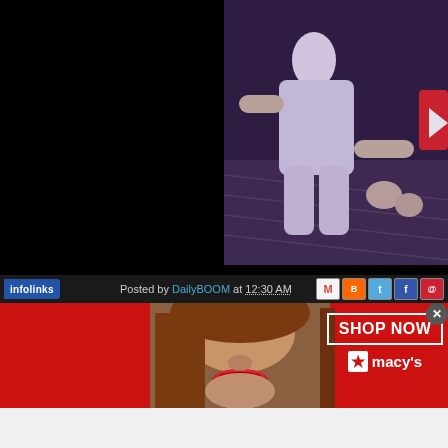[Figure (screenshot): Video player screenshot showing dark left half and a person in white clothing on a purple-lit stage on the right half, with a red play button overlay visible at far right]
Posted by DailyBOOM at 12:30 AM
[Figure (screenshot): Infolinks advertisement banner for Macy's: 'KISS BORING LIPS GOODBYE' with woman photo and 'SHOP NOW' button and Macy's star logo]
[Figure (photo): White/light gray bar at bottom of page]